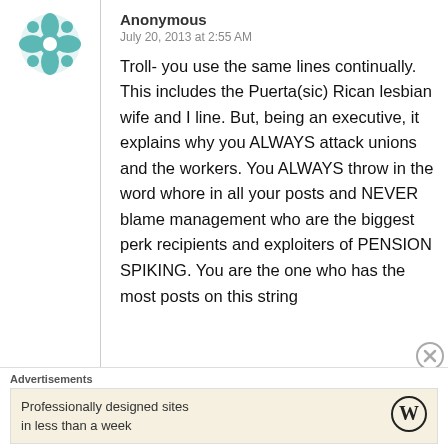[Figure (illustration): Teal/green decorative avatar icon with symmetrical floral/geometric pattern]
Anonymous
July 20, 2013 at 2:55 AM
Troll- you use the same lines continually. This includes the Puerta(sic) Rican lesbian wife and I line. But, being an executive, it explains why you ALWAYS attack unions and the workers. You ALWAYS throw in the word whore in all your posts and NEVER blame management who are the biggest perk recipients and exploiters of PENSION SPIKING. You are the one who has the most posts on this string
Advertisements
Professionally designed sites in less than a week